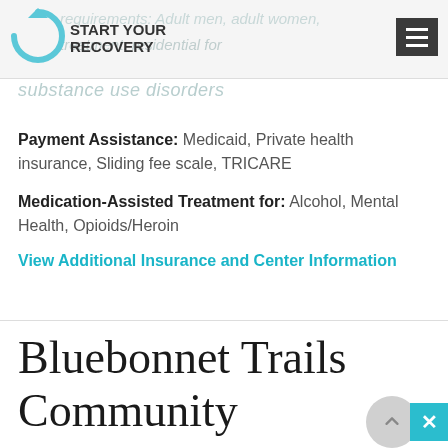START YOUR RECOVERY
substance use disorders
Payment Assistance: Medicaid, Private health insurance, Sliding fee scale, TRICARE
Medication-Assisted Treatment for: Alcohol, Mental Health, Opioids/Heroin
View Additional Insurance and Center Information
Bluebonnet Trails Community Services